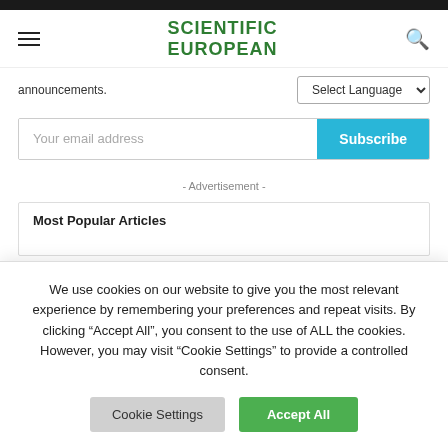SCIENTIFIC EUROPEAN
announcements.
Select Language
Your email address
Subscribe
- Advertisement -
Most Popular Articles
We use cookies on our website to give you the most relevant experience by remembering your preferences and repeat visits. By clicking “Accept All”, you consent to the use of ALL the cookies. However, you may visit "Cookie Settings" to provide a controlled consent.
Cookie Settings
Accept All